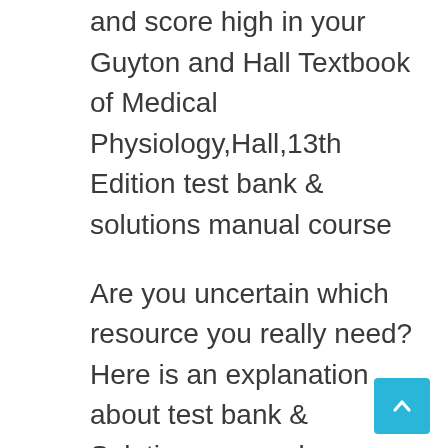and score high in your Guyton and Hall Textbook of Medical Physiology,Hall,13th Edition test bank & solutions manual course
Are you uncertain which resource you really need? Here is an explanation about test bank & Solutions manual:
Test bank: Contains exam questions designed and tailored for the book being in use in the classroom. Test bank